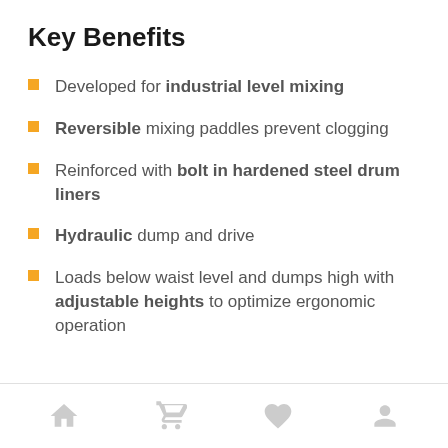Key Benefits
Developed for industrial level mixing
Reversible mixing paddles prevent clogging
Reinforced with bolt in hardened steel drum liners
Hydraulic dump and drive
Loads below waist level and dumps high with adjustable heights to optimize ergonomic operation